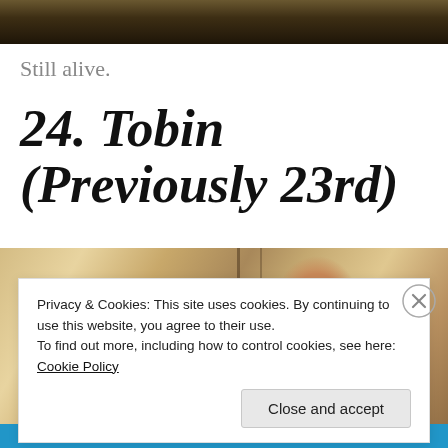[Figure (photo): Dark-toned photograph cropped at top of page, showing figures in dim lighting]
Still alive.
24. Tobin (Previously 23rd)
[Figure (photo): Photo showing interior room scene with a person visible on the right side]
Privacy & Cookies: This site uses cookies. By continuing to use this website, you agree to their use.
To find out more, including how to control cookies, see here: Cookie Policy
Close and accept